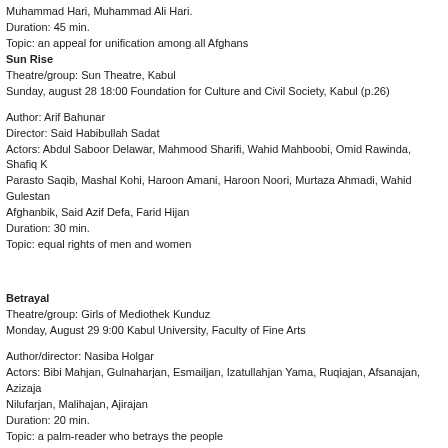Muhammad Hari, Muhammad Ali Hari.
Duration: 45 min.
Topic: an appeal for unification among all Afghans
Sun Rise
Theatre/group: Sun Theatre, Kabul
Sunday, august 28 18:00 Foundation for Culture and Civil Society, Kabul (p.26)
Author: Arif Bahunar
Director: Said Habibullah Sadat
Actors: Abdul Saboor Delawar, Mahmood Sharifi, Wahid Mahboobi, Omid Rawinda, Shafiq K... Parasto Saqib, Mashal Kohi, Haroon Amani, Haroon Noori, Murtaza Ahmadi, Wahid Gulestan... Afghanbik, Said Azif Defa, Farid Hijan
Duration: 30 min.
Topic: equal rights of men and women
Betrayal
Theatre/group: Girls of Mediothek Kunduz
Monday, August 29 9:00 Kabul University, Faculty of Fine Arts
Author/director: Nasiba Holgar
Actors: Bibi Mahjan, Gulnaharjan, Esmailjan, Izatullahjan Yama, Ruqiajan, Afsanajan, Azizaja... Nilufarjan, Malihajan, Ajirajan
Duration: 20 min.
Topic: a palm-reader who betrays the people
Carelessness in Youth
Theatre/group: Girls of Mediothek Kunduz
Monday, August 29 9:30 Kabul University, Faculty of Fine Arts
Author/director: Nasiba Holgar